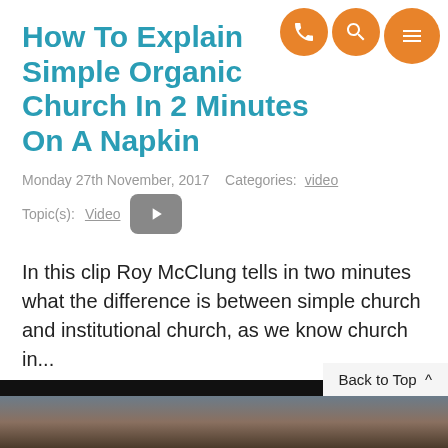How To Explain Simple Organic Church In 2 Minutes On A Napkin
Monday 27th November, 2017   Categories: video
Topic(s): Video
In this clip Roy McClung tells in two minutes what the difference is between simple church and institutional church, as we know church in...
Read Article >
Back to Top ^